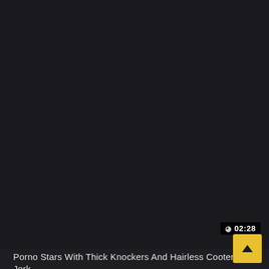[Figure (screenshot): Dark video thumbnail area occupying most of the top portion of the page]
02:28
Porno Stars With Thick Knockers And Hairless Cooters Jerk
# Solo Shemale # Masturbation Shemale